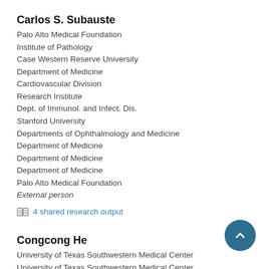Carlos S. Subauste
Palo Alto Medical Foundation
Institute of Pathology
Case Western Reserve University
Department of Medicine
Cardiovascular Division
Research Institute
Dept. of Immunol. and Infect. Dis.
Stanford University
Departments of Ophthalmology and Medicine
Department of Medicine
Department of Medicine
Department of Medicine
Palo Alto Medical Foundation
External person
4 shared research output
Congcong He
University of Texas Southwestern Medical Center
University of Texas Southwestern Medical Center
Northwestern University
Northwestern University